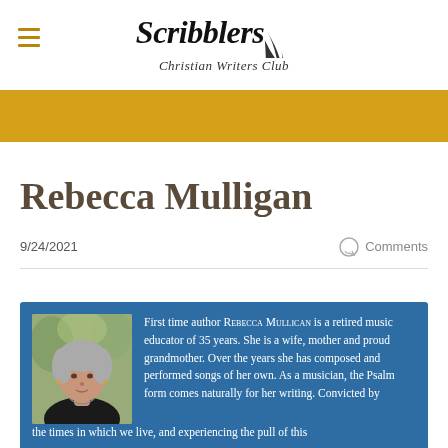Scribblers Christian Writers Club
Rebecca Mulligan
9/24/2021
Comments
[Figure (photo): Portrait photo of Rebecca Mulligan, a woman with short grey hair wearing a dark top, with pink flowers in the background]
First time author Rebecca Mullican is a retired music educator of 35 years. She is a wife, mother and proud grandmother. Over the years she has composed and performed songs of her own. As a musician, the Psalm form comes naturally for her writing. Convicted by the times in which we live, and experiencing the pull of this